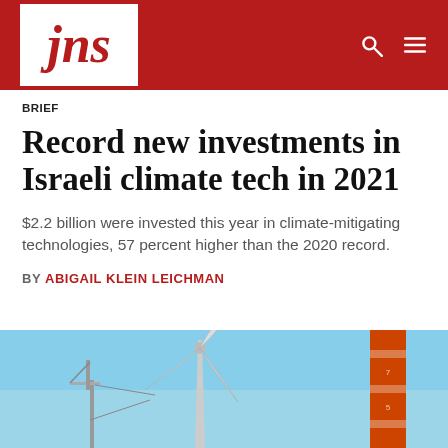jns
BRIEF
Record new investments in Israeli climate tech in 2021
$2.2 billion were invested this year in climate-mitigating technologies, 57 percent higher than the 2020 record.
BY ABIGAIL KLEIN LEICHMAN
[Figure (photo): Wind turbine blades against a blue sky, with an orange industrial chimney or tower visible on the right side]